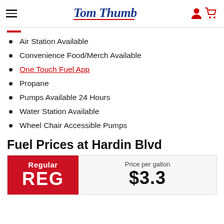Tom Thumb
Air Station Available
Convenience Food/Merch Available
One Touch Fuel App
Propane
Pumps Available 24 Hours
Water Station Available
Wheel Chair Accessible Pumps
Fuel Prices at Hardin Blvd
[Figure (infographic): Fuel price card showing Regular / REG label in red box on left, and Price per gallon / $3.3?? on right gray box]